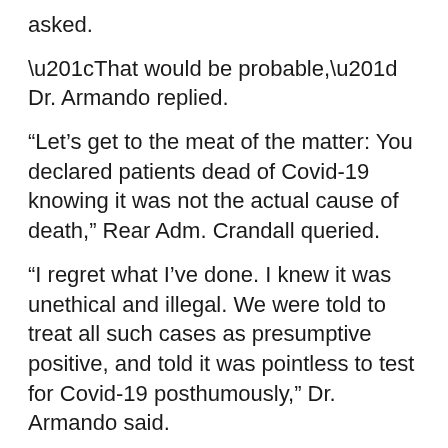asked.
“That would be probable,” Dr. Armando replied.
“Let’s get to the meat of the matter: You declared patients dead of Covid-19 knowing it was not the actual cause of death,” Rear Adm. Crandall queried.
“I regret what I’ve done. I knew it was unethical and illegal. We were told to treat all such cases as presumptive positive, and told it was pointless to test for Covid-19 posthumously,” Dr. Armando said.
“And this was widespread, based on your conversation with your colleagues at the time,” Rear Adm. Crandall said.
“It was endemic,” Dr. Armando said.